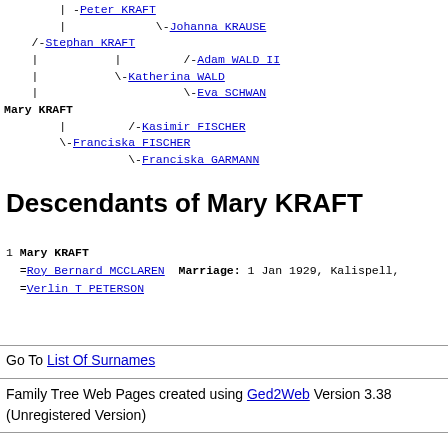[Figure (other): Genealogy ancestor tree showing family connections for Mary KRAFT with branches to Stephan KRAFT, Johanna KRAUSE, Adam WALD II, Katherina WALD, Eva SCHWAN, Kasimir FISCHER, Franciska FISCHER, Franciska GARMANN]
Descendants of Mary KRAFT
1 Mary KRAFT =Roy Bernard MCCLAREN Marriage: 1 Jan 1929, Kalispell, =Verlin T PETERSON
Go To List Of Surnames
Family Tree Web Pages created using Ged2Web Version 3.38 (Unregistered Version)